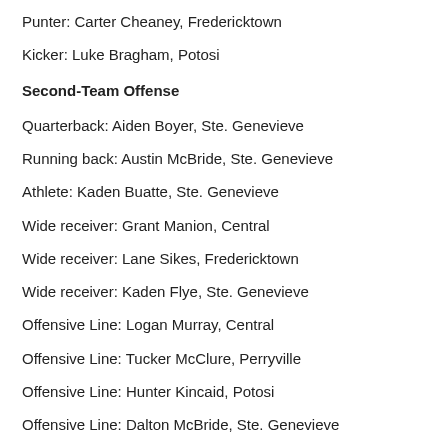Punter: Carter Cheaney, Fredericktown
Kicker: Luke Bragham, Potosi
Second-Team Offense
Quarterback: Aiden Boyer, Ste. Genevieve
Running back: Austin McBride, Ste. Genevieve
Athlete: Kaden Buatte, Ste. Genevieve
Wide receiver: Grant Manion, Central
Wide receiver: Lane Sikes, Fredericktown
Wide receiver: Kaden Flye, Ste. Genevieve
Offensive Line: Logan Murray, Central
Offensive Line: Tucker McClure, Perryville
Offensive Line: Hunter Kincaid, Potosi
Offensive Line: Dalton McBride, Ste. Genevieve
Offensive Line: Isaac Smith, Fredericktown